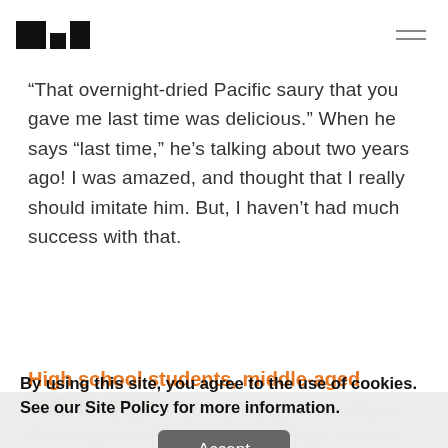[Logo] [Navigation menu icon]
“That overnight-dried Pacific saury that you gave me last time was delicious.” When he says “last time,” he’s talking about two years ago! I was amazed, and thought that I really should imitate him. But, I haven’t had much success with that.
High school students, middle-aged women, ideas
When he was 23, the general manager of the Marine division gave him a 270 million yen budget, and said he wanted me to do design work. Basically, he wanted me to tweak products like packages, colors and things like
By using this site, you agree to the use of cookies. See our Site Policy for more information.
Accept